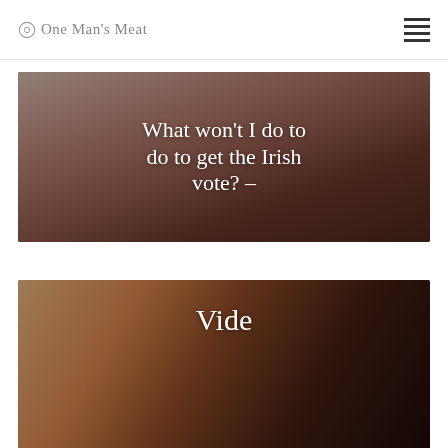One Man's Meat
[Figure (photo): Raw meat/poultry on a cutting board, close-up, dark toned photo serving as background for article card]
What won't I do to do to get the Irish vote? –
[Figure (photo): Person pouring from a red ceramic jug over a plate with food, wine bottle in background, serving as article card image]
Vide